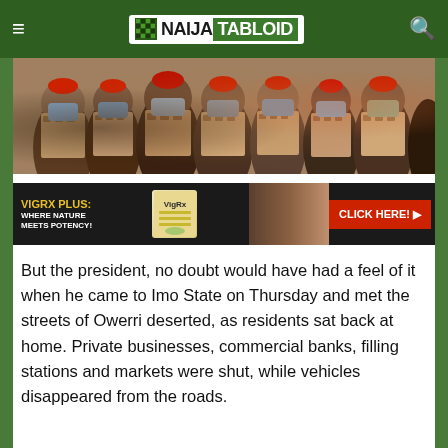NAIJA TABLOID
[Figure (photo): Group of people wearing matching patterned outfits and face masks, with red caps, appearing to be at an official gathering in Nigeria]
[Figure (other): VigRX Plus advertisement: 'VIGRX PLUS: WHERE NATURE MEETS POTENCY!' with product image and 'CLICK HERE!' button]
But the president, no doubt would have had a feel of it when he came to Imo State on Thursday and met the streets of Owerri deserted, as residents sat back at home. Private businesses, commercial banks, filling stations and markets were shut, while vehicles disappeared from the roads.
Preparatory to the president's visit, IPOB had